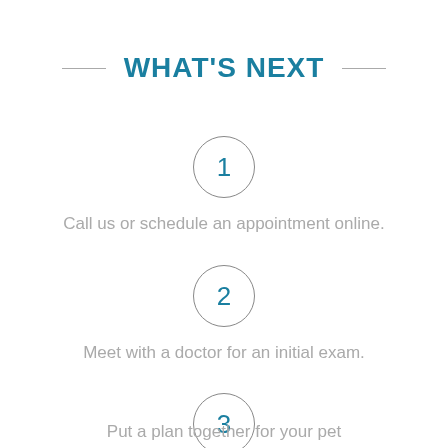WHAT'S NEXT
1
Call us or schedule an appointment online.
2
Meet with a doctor for an initial exam.
3
Put a plan together for your pet